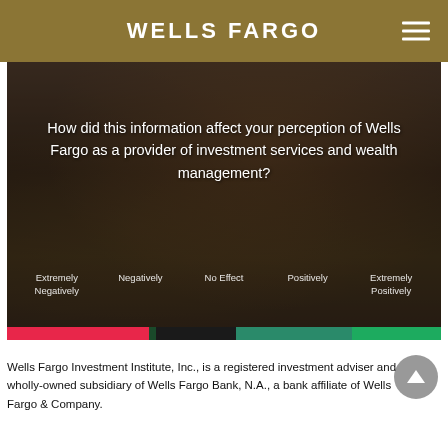WELLS FARGO
[Figure (photo): Survey question overlay on a dark photo of a person writing/signing documents with charts visible. Text reads: 'How did this information affect your perception of Wells Fargo as a provider of investment services and wealth management?' with a scale from 'Extremely Negatively' to 'Extremely Positively' at the bottom, and a colored rating bar (red to green).]
Wells Fargo Investment Institute, Inc., is a registered investment adviser and wholly-owned subsidiary of Wells Fargo Bank, N.A., a bank affiliate of Wells Fargo & Company.